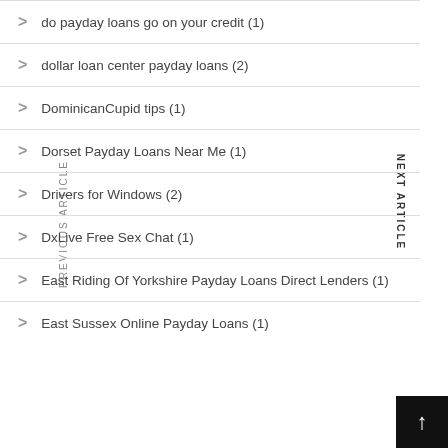do payday loans go on your credit (1)
dollar loan center payday loans (2)
DominicanCupid tips (1)
Dorset Payday Loans Near Me (1)
Drivers for Windows (2)
DxLive Free Sex Chat (1)
East Riding Of Yorkshire Payday Loans Direct Lenders (1)
East Sussex Online Payday Loans (1)